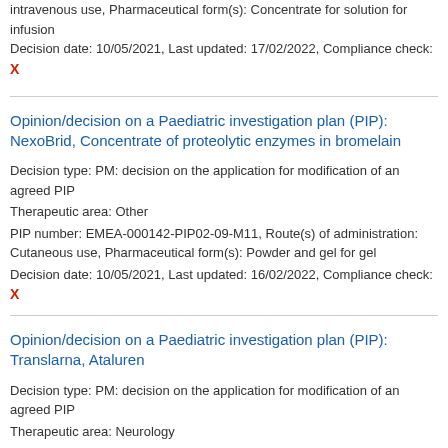intravenous use, Pharmaceutical form(s): Concentrate for solution for infusion
Decision date: 10/05/2021, Last updated: 17/02/2022, Compliance check:
X
Opinion/decision on a Paediatric investigation plan (PIP): NexoBrid, Concentrate of proteolytic enzymes in bromelain
Decision type: PM: decision on the application for modification of an agreed PIP
Therapeutic area: Other
PIP number: EMEA-000142-PIP02-09-M11, Route(s) of administration: Cutaneous use, Pharmaceutical form(s): Powder and gel for gel
Decision date: 10/05/2021, Last updated: 16/02/2022, Compliance check:
X
Opinion/decision on a Paediatric investigation plan (PIP): Translarna, Ataluren
Decision type: PM: decision on the application for modification of an agreed PIP
Therapeutic area: Neurology
PIP number: EMEA-000115-PIP01-07-M11, Route(s) of administration: Oral use, Pharmaceutical form(s): Granules for oral suspension
Decision date: 10/05/2021, Last updated: 10/02/2022, Compliance check: